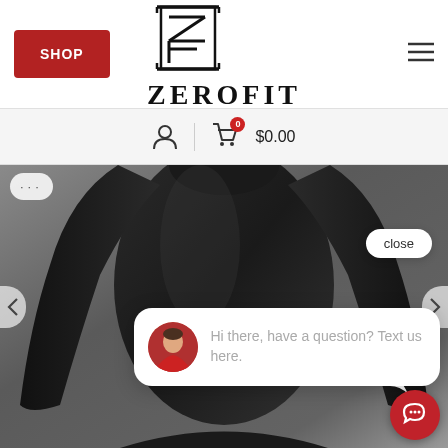[Figure (logo): ZEROFIT brand logo with ZF monogram above the text ZEROFIT]
SHOP
$0.00
[Figure (photo): Person wearing black long-sleeve compression shirt, torso and arms visible against grey background]
close
Hi there, have a question? Text us here.